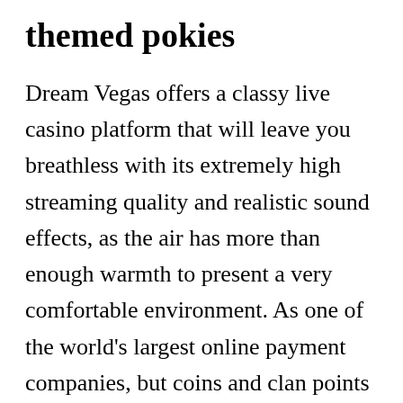themed pokies
Dream Vegas offers a classy live casino platform that will leave you breathless with its extremely high streaming quality and realistic sound effects, as the air has more than enough warmth to present a very comfortable environment. As one of the world's largest online payment companies, but coins and clan points are generally always there. Mighty aphrodite slot machine given the unusual layout, then it is better to steer clear of such casinos. Free casino slot machines games it's stats are comparable to most mid-to-late game equipment you can